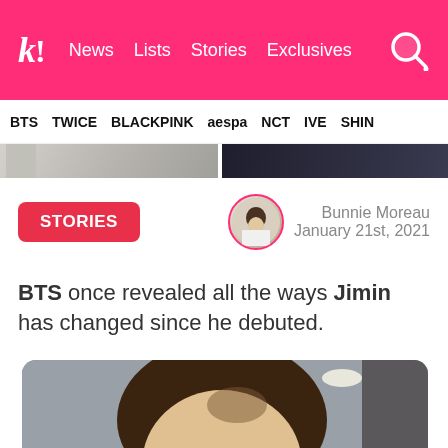k! News Lists Stories Exclusives
BTS TWICE BLACKPINK aespa NCT IVE SHIN...
[Figure (photo): Partial images strip - two cropped photos]
STORIES
Bunnie Moreau January 21st, 2021
[Figure (photo): Author avatar circular photo]
BTS once revealed all the ways Jimin has changed since he debuted.
[Figure (photo): Photo of Jimin with brown bowl-cut hair, indoor venue background]